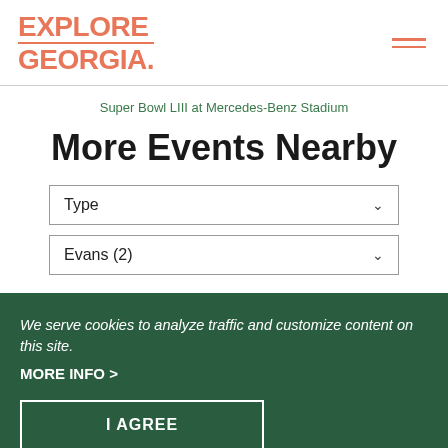EXPLORE GEORGIA.
Super Bowl LIII at Mercedes-Benz Stadium
More Events Nearby
Type
Evans (2)
We serve cookies to analyze traffic and customize content on this site.
MORE INFO >
I AGREE